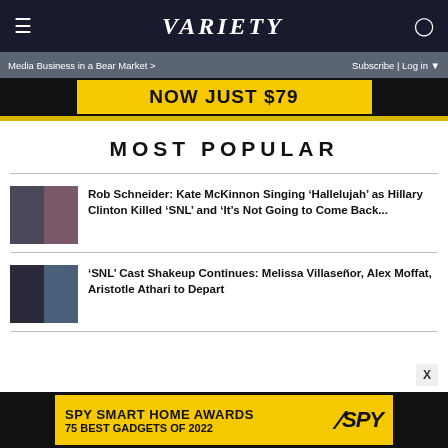VARIETY
Media Business in a Bear Market > | Subscribe | Log in
[Figure (screenshot): Advertisement banner showing 'NOW JUST $79' on dark background with yellow highlight]
MOST POPULAR
[Figure (photo): Thumbnail image of Rob Schneider and Kate McKinnon]
Rob Schneider: Kate McKinnon Singing 'Hallelujah' as Hillary Clinton Killed 'SNL' and 'It's Not Going to Come Back...
[Figure (photo): Thumbnail image of SNL cast members]
'SNL' Cast Shakeup Continues: Melissa Villaseñor, Alex Moffat, Aristotle Athari to Depart
[Figure (screenshot): Advertisement banner showing 'SPY SMART HOME AWARDS 75 BEST GADGETS OF 2022' on yellow background]